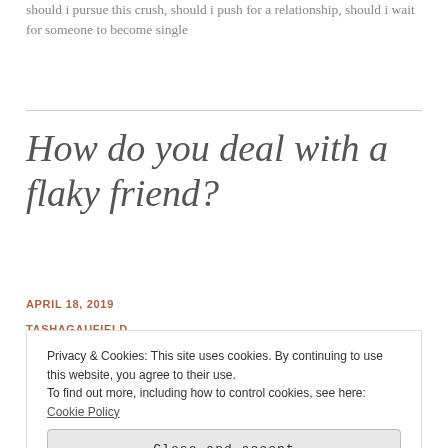should i pursue this crush, should i push for a relationship, should i wait for someone to become single
How do you deal with a flaky friend?
APRIL 18, 2019
TASHAGAUFIELD
Privacy & Cookies: This site uses cookies. By continuing to use this website, you agree to their use.
To find out more, including how to control cookies, see here: Cookie Policy
Close and accept